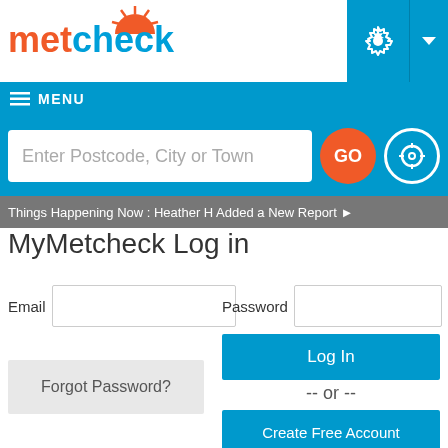[Figure (logo): Metcheck logo with orange 'met' and blue 'check' text and sun graphic]
[Figure (screenshot): Blue gear/settings button and dropdown arrow in top right]
≡ MENU
Enter Postcode, City or Town
GO
Things Happening Now : Heather H Added a New Report ▶
MyMetcheck Log in
Email
Password
Log In
Forgot Password?
-- or --
Create Free Account